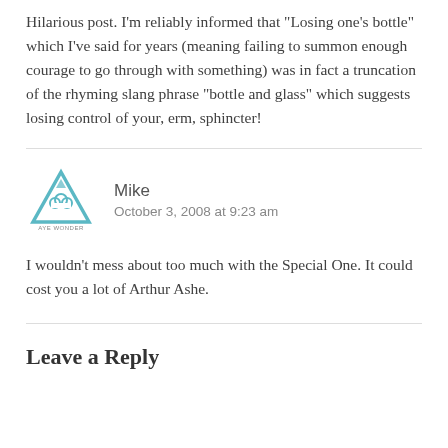Hilarious post. I'm reliably informed that “Losing one’s bottle” which I've said for years (meaning failing to summon enough courage to go through with something) was in fact a truncation of the rhyming slang phrase “bottle and glass” which suggests losing control of your, erm, sphincter!
[Figure (logo): Aye Wonder logo: teal triangle with cloud motif and text 'AYE WONDER' below]
Mike
October 3, 2008 at 9:23 am
I wouldn’t mess about too much with the Special One. It could cost you a lot of Arthur Ashe.
Leave a Reply